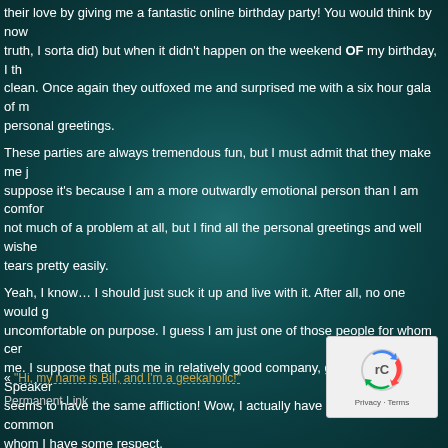their love by giving me a fantastic online birthday party!  You would think by now (truth, I sorta did) but when it didn't happen on the weekend OF my birthday, I th clean.  Once again they outfoxed me and surprised me with a six hour gala of m personal greetings.
These parties are always tremendous fun, but I must admit that they make me j suppose it's because I am a more outwardly emotional person than I am comfor not much of a problem at all, but I find all the personal greetings and well wishe tears pretty easily.
Yeah, I know… I should just suck it up and live with it.  After all, no one would g uncomfortable on purpose.  I guess I am just one of those people for whom cer me.  I suppose that puts me in relatively good company, given our new Speaker seems to have the same affliction!  Wow, I actually have something in common whom I have some respect.
ANYWAY, I want to thank each and every one of my friends for all the love and they do for our station! You are all,
Simply the Best!
« "Hi, my name is Bill, and I'm a geekaholic!"
Permanent Link
[Figure (logo): reCAPTCHA logo with Privacy and Terms text]